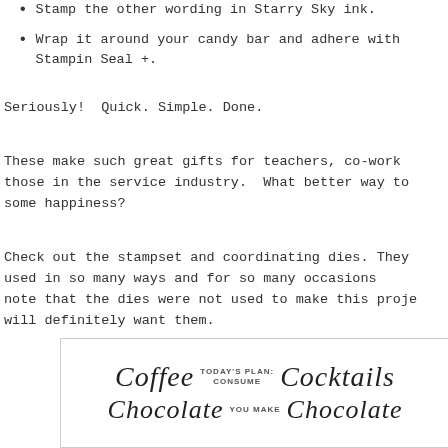Stamp the other wording in Starry Sky ink.
Wrap it around your candy bar and adhere with Stampin Seal +.
Seriously!  Quick. Simple. Done.
These make such great gifts for teachers, co-work... those in the service industry.  What better way to ... some happiness?
Check out the stampset and coordinating dies. They... used in so many ways and for so many occasions... note that the dies were not used to make this proje... will definitely want them.
[Figure (illustration): Candy bar wrapper stamp design showing 'Coffee' and 'Cocktails' in script with 'TODAY'S PLAN: CONSUME' and 'YOU MAKE' in small caps between them, with additional cursive text on a second line.]